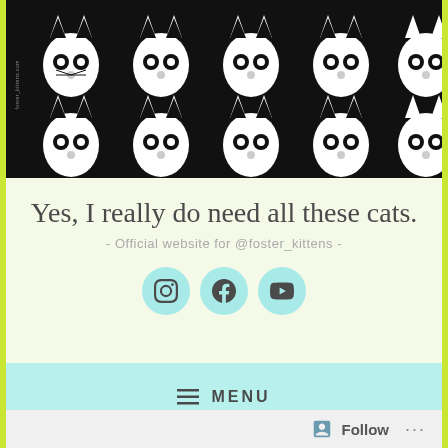[Figure (illustration): Black background header with repeating white cartoon cat face pattern]
Yes, I really do need all these cats.
- Official website for @foster_kittens -
[Figure (infographic): Three circular social media icons (Instagram, Facebook, YouTube) with teal background]
≡ MENU
Follow ...